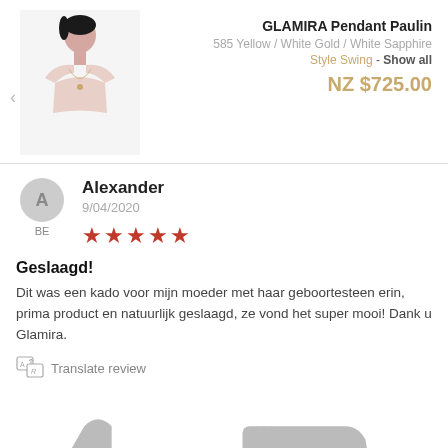[Figure (photo): Product photo showing a woman wearing a pendant necklace, with a left navigation arrow visible]
GLAMIRA Pendant Paulin
585 Yellow / White Gold / White Sapphire
Style Swing - Show all
NZ $725.00
Alexander
9/04/2020
[Figure (other): 5 red stars rating]
Geslaagd!
Dit was een kado voor mijn moeder met haar geboortesteen erin, prima product en natuurlijk geslaagd, ze vond het super mooi! Dank u Glamira.
Translate review
0
0